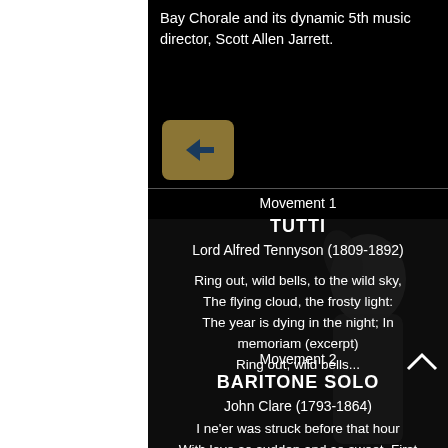Bay Chorale and its dynamic 5th music director, Scott Allen Jarrett.
[Figure (other): Back navigation button with left arrow on gold/tan background]
Movement 1
TUTTI
Lord Alfred Tennyson (1809-1892)
Ring out, wild bells, to the wild sky, The flying cloud, the frosty light: The year is dying in the night; In memoriam (excerpt) Ring out, wild bells...
Movement 2
BARITONE SOLO
John Clare (1793-1864)
I ne'er was struck before that hour With love so sudden and so sweet. First Love Her face it bloomed like a sweet flower